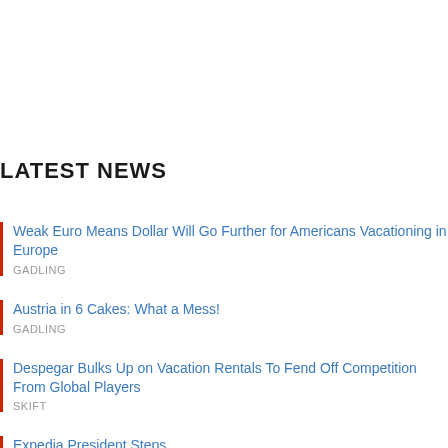LATEST NEWS
Weak Euro Means Dollar Will Go Further for Americans Vacationing in Europe
GADLING
Austria in 6 Cakes: What a Mess!
GADLING
Despegar Bulks Up on Vacation Rentals To Fend Off Competition From Global Players
SKIFT
Expedia President Steps...